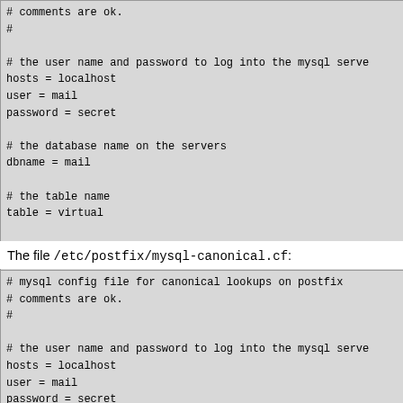# comments are ok.
#

# the user name and password to log into the mysql serve
hosts = localhost
user = mail
password = secret

# the database name on the servers
dbname = mail

# the table name
table = virtual

#
select_field = dest
where_field = alias
additional_conditions = and status = '1'
The file /etc/postfix/mysql-canonical.cf:
# mysql config file for canonical lookups on postfix
# comments are ok.
#

# the user name and password to log into the mysql serve
hosts = localhost
user = mail
password = secret